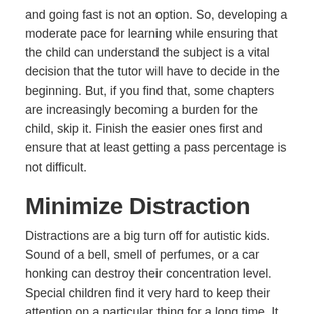and going fast is not an option. So, developing a moderate pace for learning while ensuring that the child can understand the subject is a vital decision that the tutor will have to decide in the beginning. But, if you find that, some chapters are increasingly becoming a burden for the child, skip it. Finish the easier ones first and ensure that at least getting a pass percentage is not difficult.
Minimize Distraction
Distractions are a big turn off for autistic kids. Sound of a bell, smell of perfumes, or a car honking can destroy their concentration level. Special children find it very hard to keep their attention on a particular thing for a long time. It takes time and hence any external sounds break the momentum and this affects the speed of their learning process profoundly. While you are teaching an autistic kid, try to find an isolated space where there is no external disturbance. Soundproof rooms are a must for teaching these children. Don't do